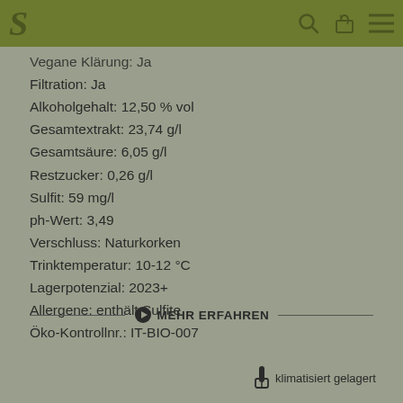S [logo] [search] [basket] [menu]
Vegane Klärung: Ja
Filtration: Ja
Alkoholgehalt: 12,50 % vol
Gesamtextrakt: 23,74 g/l
Gesamtsäure: 6,05 g/l
Restzucker: 0,26 g/l
Sulfit: 59 mg/l
ph-Wert: 3,49
Verschluss: Naturkorken
Trinktemperatur: 10-12 °C
Lagerpotenzial: 2023+
Allergene: enthält Sulfite
Öko-Kontrollnr.: IT-BIO-007
▶ MEHR ERFAHREN
klimatisiert gelagert